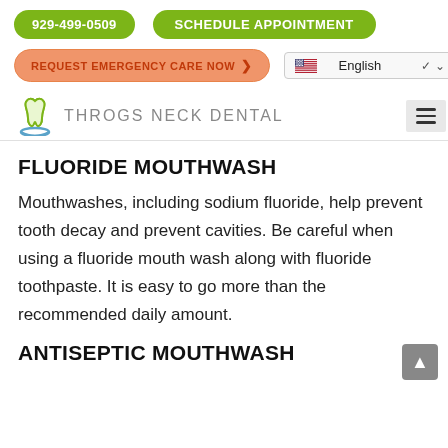929-499-0509   SCHEDULE APPOINTMENT   REQUEST EMERGENCY CARE NOW   English
[Figure (logo): Throgs Neck Dental logo with tooth icon and blue smile arc]
FLUORIDE MOUTHWASH
Mouthwashes, including sodium fluoride, help prevent tooth decay and prevent cavities. Be careful when using a fluoride mouth wash along with fluoride toothpaste. It is easy to go more than the recommended daily amount.
ANTISEPTIC MOUTHWASH